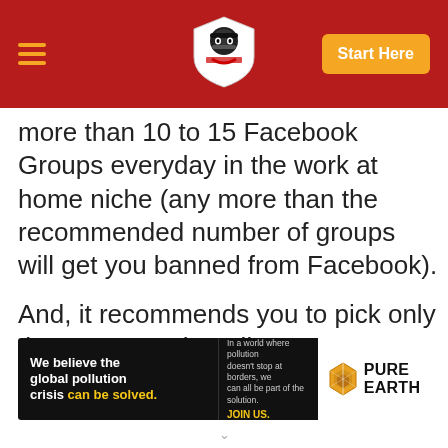Start Here
more than 10 to 15 Facebook Groups everyday in the work at home niche (any more than the recommended number of groups will get you banned from Facebook).
And, it recommends you to pick only those groups that allow you to post your business opportunities.
[Figure (infographic): Pure Earth advertisement banner: black background on left with text 'We believe the global pollution crisis can be solved.' and 'In a world where pollution doesn't stop at borders, we can all be part of the solution. JOIN US.' with Pure Earth logo on right.]